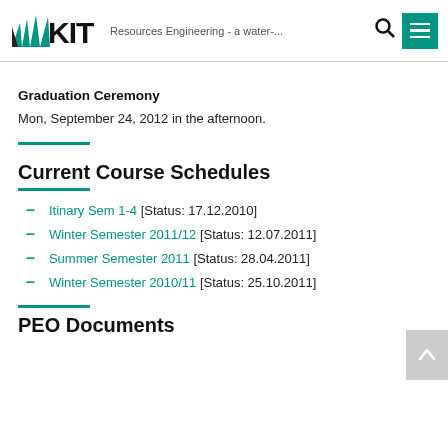KIT Resources Engineering - a water-...
Graduation Ceremony
Mon, September 24, 2012 in the afternoon.
Current Course Schedules
Itinary Sem 1-4 [Status: 17.12.2010]
Winter Semester 2011/12 [Status: 12.07.2011]
Summer Semester 2011 [Status: 28.04.2011]
Winter Semester 2010/11 [Status: 25.10.2011]
PEO Documents